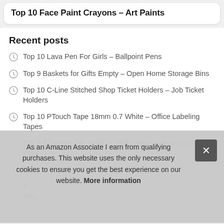Top 10 Face Paint Crayons – Art Paints
Recent posts
Top 10 Lava Pen For Girls – Ballpoint Pens
Top 9 Baskets for Gifts Empty – Open Home Storage Bins
Top 10 C-Line Stitched Shop Ticket Holders – Job Ticket Holders
Top 10 PTouch Tape 18mm 0.7 White – Office Labeling Tapes
Top 9 4 Drawer File Cabinet 26.5 Deep – Office Vertical Files
T…
T… Cha…
Top 9 Box Cutters Built – Utility Knives
As an Amazon Associate I earn from qualifying purchases. This website uses the only necessary cookies to ensure you get the best experience on our website. More information